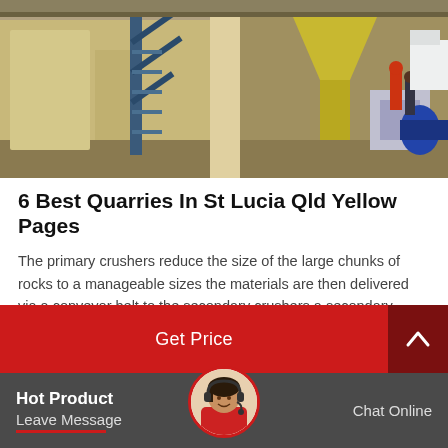[Figure (photo): Industrial machinery including crushers, conveyors, and processing equipment inside a warehouse/factory setting]
6 Best Quarries In St Lucia Qld Yellow Pages
The primary crushers reduce the size of the large chunks of rocks to a manageable sizes the materials are then delivered via a conveyor belt to the secondary crushers a secondary crusher reduces the material size further and is then sorted and screened…
Get Price
Hot Product
Leave Message
Chat Online